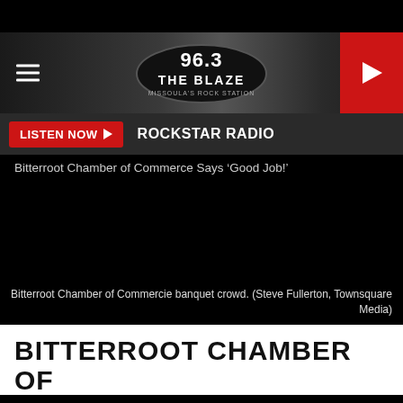[Figure (screenshot): 96.3 The Blaze radio station website header with logo, hamburger menu, and red play button]
LISTEN NOW ▶   ROCKSTAR RADIO
Bitterroot Chamber of Commerce Says ‘Good Job!’
[Figure (photo): Dark/black image of Bitterroot Chamber of Commerce banquet crowd]
Bitterroot Chamber of Commercie banquet crowd. (Steve Fullerton, Townsquare Media)
BITTERROOT CHAMBER OF